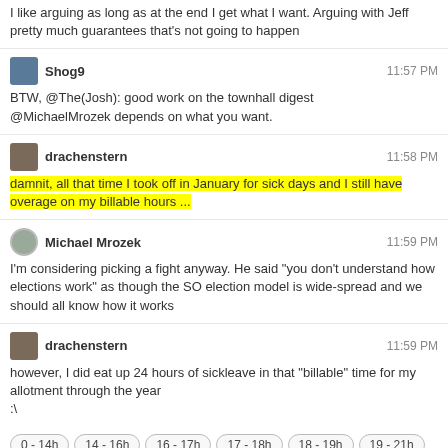I like arguing as long as at the end I get what I want. Arguing with Jeff pretty much guarantees that's not going to happen
Shog9 11:57 PM
BTW, @The(Josh): good work on the townhall digest
@MichaelMrozek depends on what you want.
drachenstern 11:58 PM
damnit, all that time I took off in January for sick days and I still have overage on my billable hours ...
Michael Mrozek 11:59 PM
I'm considering picking a fight anyway. He said "you don't understand how elections work" as though the SO election model is wide-spread and we should all know how it works
drachenstern 11:59 PM
however, I did eat up 24 hours of sickleave in that "billable" time for my allotment through the year
:\
0 - 14h | 14 - 16h | 16 - 17h | 17 - 18h | 18 - 19h | 19 - 21h | 21 - 22h | 22 - 23h | 23 - 0h
← prev day   next day →   last day »
join this room